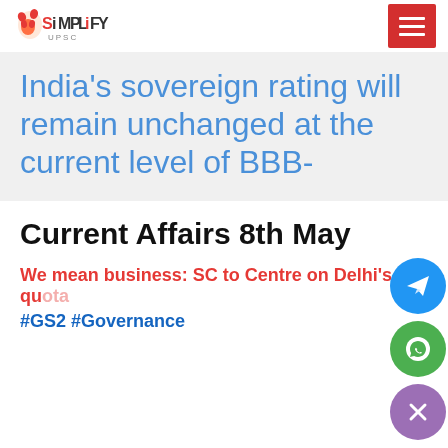Simplify UPSC
India's sovereign rating will remain unchanged at the current level of BBB-
Current Affairs 8th May
We mean business: SC to Centre on Delhi's quota
#GS2 #Governance